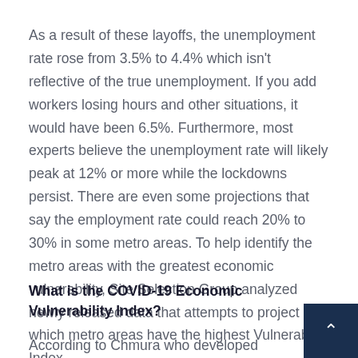As a result of these layoffs, the unemployment rate rose from 3.5% to 4.4% which isn't reflective of the true unemployment. If you add workers losing hours and other situations, it would have been 6.5%. Furthermore, most experts believe the unemployment rate will likely peak at 12% or more while the lockdowns persist. There are even some projections that say the employment rate could reach 20% to 30% in some metro areas. To help identify the metro areas with the greatest economic vulnerability, Site Selection Group analyzed newly released data that attempts to project which metro areas have the highest Vulnerability Index.
What is the COVID-19 Economic Vulnerability Index?
According to Chmura who developed the projectio